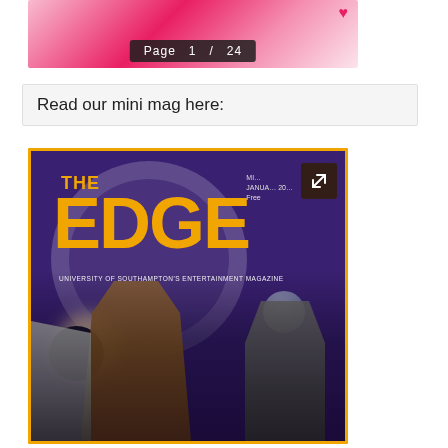[Figure (screenshot): Top portion of a magazine or document viewer showing a pink/romantic themed cover with 'Page 1 / 24' navigation indicator overlay]
Read our mini mag here:
[Figure (screenshot): Cover of 'The Edge' magazine - University of Southampton's Entertainment Magazine, January issue, Free. Shows large orange 'THE EDGE' title on dark purple background with circular logo, subtitle text, external link icon, and characters from the Dune film in the lower portion, with a planet and eclipse visible.]